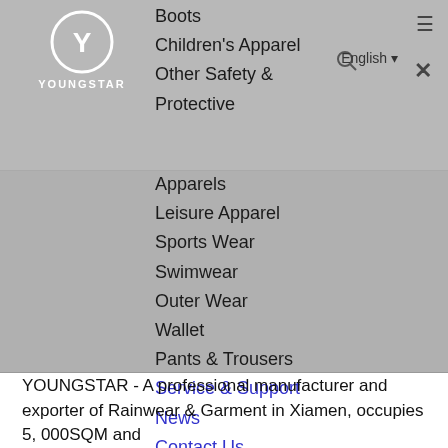[Figure (logo): YOUNGSTAR logo with circular Y symbol and brand name below]
Boots
Children's Apparel
Other Safety & Protective Apparels
Leisure Apparel
Sports Wear
Swimwear
Outer Wear
Wallet
Pants & Trousers
Service & Support
News
Contact Us
YOUNGSTAR - A professional manufacturer and exporter of Rainwear & Garment in Xiamen, occupies 5, 000SQM and